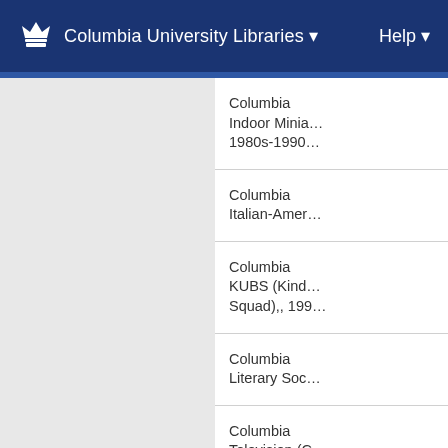Columbia University Libraries  Help
Columbia Indoor Minia… 1980s-1990…
Columbia Italian-Amer…
Columbia KUBS (Kind… Squad),, 199…
Columbia Literary Soc…
Columbia Television (C…
Columbia Undergradu… Public Policy…